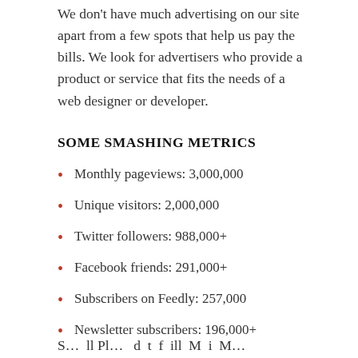We don't have much advertising on our site apart from a few spots that help us pay the bills. We look for advertisers who provide a product or service that fits the needs of a web designer or developer.
SOME SMASHING METRICS
Monthly pageviews: 3,000,000
Unique visitors: 2,000,000
Twitter followers: 988,000+
Facebook friends: 291,000+
Subscribers on Feedly: 257,000
Newsletter subscribers: 196,000+
S… ll Pl … d t f ill M i M…